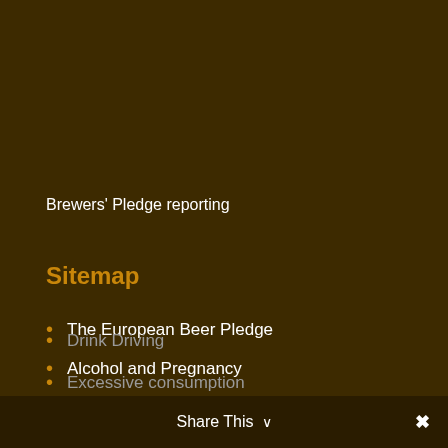Brewers' Pledge reporting
Sitemap
The European Beer Pledge
Alcohol and Pregnancy
Commercial Communications
Consumer Information
Drink Driving
Excessive consumption
Share This